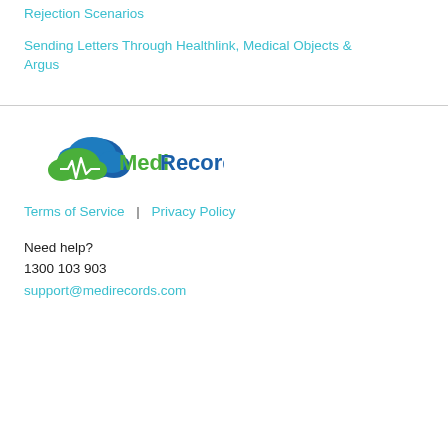Rejection Scenarios
Sending Letters Through Healthlink, Medical Objects & Argus
[Figure (logo): MediRecords logo with cloud and heartbeat icon in blue and green]
Terms of Service  |  Privacy Policy
Need help?
1300 103 903
support@medirecords.com